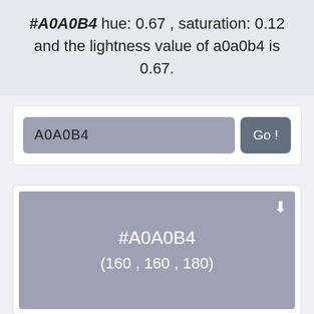#A0A0B4 hue: 0.67 , saturation: 0.12 and the lightness value of a0a0b4 is 0.67.
[Figure (screenshot): Search input field showing 'A0A0B4' with a 'Go!' button]
[Figure (screenshot): Color swatch displaying #A0A0B4 with RGB values (160, 160, 180) on a blue-grey background]